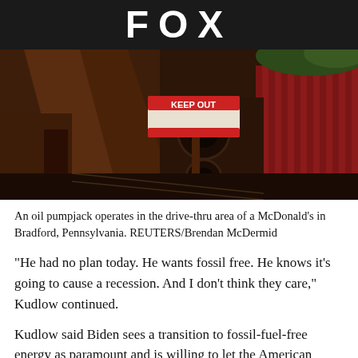FOX
[Figure (photo): An oil pumpjack with a 'KEEP OUT' sign in the drive-thru area of a McDonald's, with a red fence visible in the background. Photo by Reuters/Brendan McDermid.]
An oil pumpjack operates in the drive-thru area of a McDonald's in Bradford, Pennsylvania. REUTERS/Brendan McDermid
“He had no plan today. He wants fossil free. He knows it’s going to cause a recession. And I don’t think they care,” Kudlow continued.
Kudlow said Biden sees a transition to fossil-fuel-free energy as paramount and is willing to let the American people suffer all tangential consequences in pursuit of